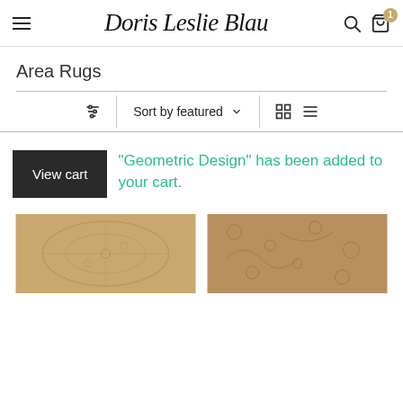Doris Leslie Blau — Area Rugs shop header with hamburger menu, search, and cart (1 item)
Area Rugs
Sort by featured
"Geometric Design" has been added to your cart.
[Figure (photo): Two antique area rug thumbnail images at the bottom of the page]
[Figure (photo): Second antique area rug thumbnail image]